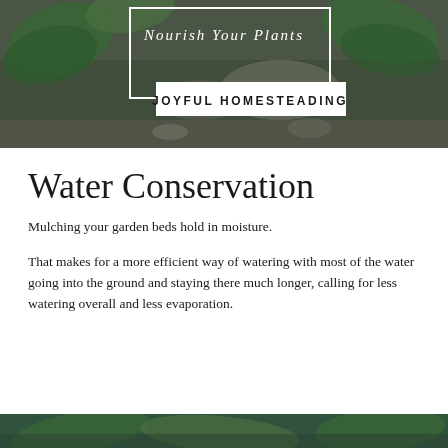[Figure (photo): Garden/plant background photo with text overlay reading 'Nourish Your Plants' and a white rectangle label 'JOYFUL HOMESTEADING']
Water Conservation
Mulching your garden beds hold in moisture.
That makes for a more efficient way of watering with most of the water going into the ground and staying there much longer, calling for less watering overall and less evaporation.
[Figure (photo): Bottom garden/plant image, partially visible]